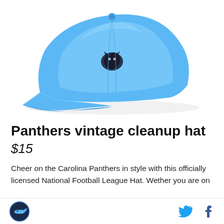[Figure (photo): Carolina Panthers light blue vintage cleanup baseball hat with panther logo on front, photographed on white background]
Panthers vintage cleanup hat
$15
Cheer on the Carolina Panthers in style with this officially licensed National Football League Hat. Wether you are on
Site logo icon and social media icons (Twitter, Facebook)